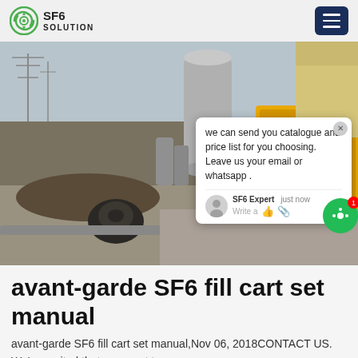SF6 SOLUTION
[Figure (photo): Outdoor electrical substation with SF6 gas handling equipment — a yellow cart/truck and large cylindrical pressure vessels, power line towers and structures in the background, workers visible on the right side. A chat popup overlay is shown in the lower-right portion with message: 'we can send you catalogue and price list for you choosing. Leave us your email or whatsapp .' signed by SF6 Expert 'just now'. A green chat button with notification badge '1' is visible.]
avant-garde SF6 fill cart set manual
avant-garde SF6 fill cart set manual,Nov 06, 2018CONTACT US. We're excited that you want to